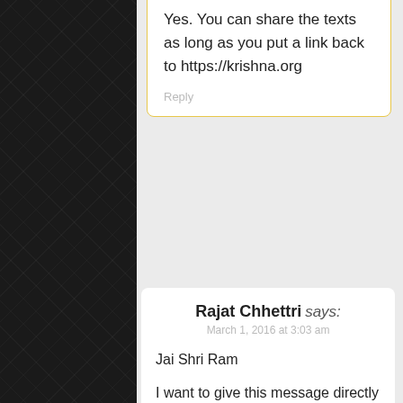Yes. You can share the texts as long as you put a link back to https://krishna.org
Reply
Rajat Chhettri says:
March 1, 2016 at 3:03 am
Jai Shri Ram
I want to give this message directly to respectable ISKCON authority members.
ISKCON should send atleast one great Devotee Vaishnava, who is rid completely of lust, greed and anger, to every ISKCON temple to maintain them, and that too by careful investigation of him.
And they should open up a Gou-shaala